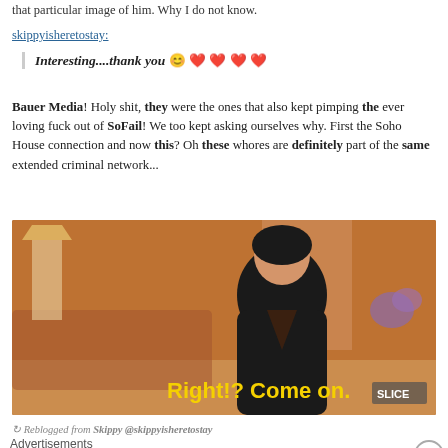that particular image of him. Why I do not know.
skippyisheretostay:
Interesting....thank you 😊 ❤ ❤ ❤ ❤
Bauer Media! Holy shit, they were the ones that also kept pimping the ever loving fuck out of SoFail! We too kept asking ourselves why. First the Soho House connection and now this? Oh these whores are definitely part of the same extended criminal network...
[Figure (screenshot): Screenshot of a woman in a black outfit in a living room setting with caption text 'Right!? Come on.' in yellow, with SLICE logo watermark in corner.]
↻ Reblogged from Skippy @skippyisheretostay
Advertisements
[Figure (screenshot): WordPress advertisement banner: 'Opinions. We all have them!' with WordPress W logo and another circular logo on dark navy background.]